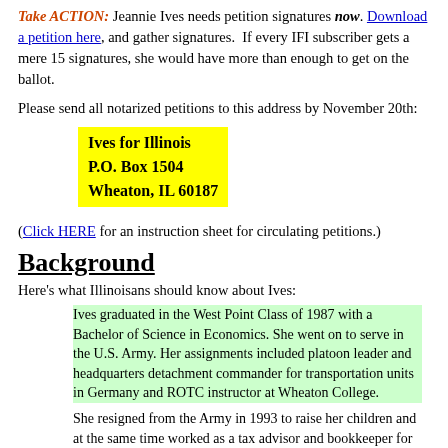Take ACTION: Jeannie Ives needs petition signatures now. Download a petition here, and gather signatures. If every IFI subscriber gets a mere 15 signatures, she would have more than enough to get on the ballot.
Please send all notarized petitions to this address by November 20th:
Ives for Illinois
P.O. Box 1504
Wheaton, IL 60187
(Click HERE for an instruction sheet for circulating petitions.)
Background
Here's what Illinoisans should know about Ives:
Ives graduated in the West Point Class of 1987 with a Bachelor of Science in Economics. She went on to serve in the U.S. Army. Her assignments included platoon leader and headquarters detachment commander for transportation units in Germany and ROTC instructor at Wheaton College.
She resigned from the Army in 1993 to raise her children and at the same time worked as a tax advisor and bookkeeper for small businesses and individuals.
Prior to her election to the Illinois House, Ives served on the Wheaton City Council….
In her first term, Ives…focused on bringing about true pension and tax